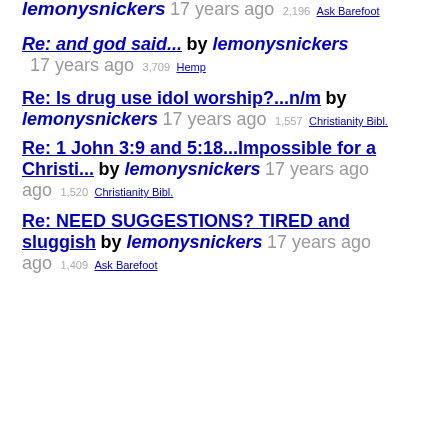lemonysnickers 17 years ago 2,196 Ask Barefoot
Re: and god said... by lemonysnickers 17 years ago 3,709 Hemp
Re: Is drug use idol worship?...n/m by lemonysnickers 17 years ago 1,557 Christianity Bibl.
Re: 1 John 3:9 and 5:18...Impossible for a Christi... by lemonysnickers 17 years ago 1,520 Christianity Bibl.
Re: NEED SUGGESTIONS? TIRED and sluggish by lemonysnickers 17 years ago 1,409 Ask Barefoot